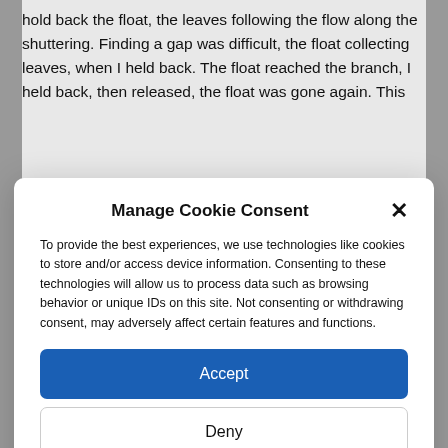hold back the float, the leaves following the flow along the shuttering. Finding a gap was difficult, the float collecting leaves, when I held back. The float reached the branch, I held back, then released, the float was gone again. This
Manage Cookie Consent
To provide the best experiences, we use technologies like cookies to store and/or access device information. Consenting to these technologies will allow us to process data such as browsing behavior or unique IDs on this site. Not consenting or withdrawing consent, may adversely affect certain features and functions.
Accept
Deny
View preferences
Cookie Policy